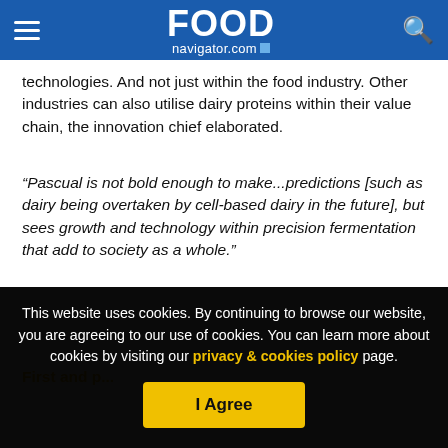FOODnavigator.com
technologies. And not just within the food industry. Other industries can also utilise dairy proteins within their value chain, the innovation chief elaborated.
“Pascual is not bold enough to make…predictions [such as dairy being overtaken by cell-based dairy in the future], but sees growth and technology within precision fermentation that add to society as a whole.”
First and...
This website uses cookies. By continuing to browse our website, you are agreeing to our use of cookies. You can learn more about cookies by visiting our privacy & cookies policy page.
I Agree